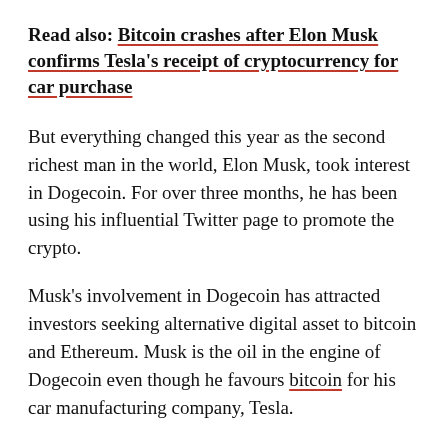Read also: Bitcoin crashes after Elon Musk confirms Tesla's receipt of cryptocurrency for car purchase
But everything changed this year as the second richest man in the world, Elon Musk, took interest in Dogecoin. For over three months, he has been using his influential Twitter page to promote the crypto.
Musk's involvement in Dogecoin has attracted investors seeking alternative digital asset to bitcoin and Ethereum. Musk is the oil in the engine of Dogecoin even though he favours bitcoin for his car manufacturing company, Tesla.
He is known and calls himself the 'Dogefather', and has frequently tied Dogecoin to his space programme promotion, one of them being, "SpaceX is going to put a literal Dogecoin on the literal moon."
Musk's backing of Dogecoin has increased investors'